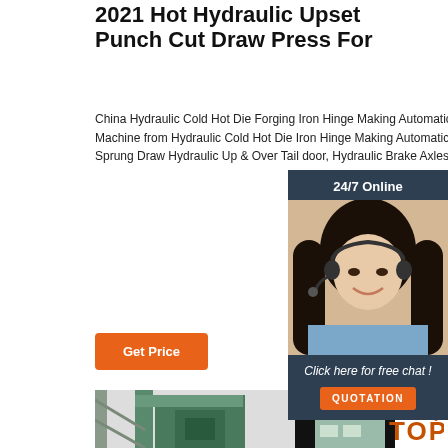2021 Hot Hydraulic Upset Punch Cut Draw Press For
China Hydraulic Cold Hot Die Forging Iron Hinge Making Automatic Press, Find details about China Press Machine, Machine from Hydraulic Cold Hot Die Iron Hinge Making Automatic Press - Dongguan Hydraulic Machinery Co., Ltd. ... Sprung Draw Hydraulic Up & Over Tail door, Hydraulic Brake Axles, Mudguards, Mud Flaps, LED ...
[Figure (infographic): Chat widget with woman wearing headset, 24/7 Online text, Click here for free chat!, and QUOTATION button]
Get Price
[Figure (photo): Industrial hydraulic press machine in factory setting, green/teal colored machinery with metal framework]
[Figure (logo): TOP badge with orange dots and text]